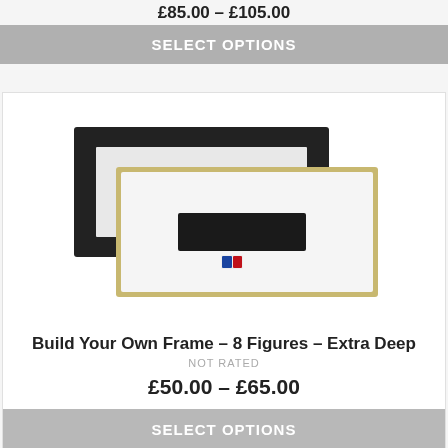£85.00 – £105.00
SELECT OPTIONS
[Figure (photo): Two picture frames overlapping: a black wide frame at back and a white with gold border deep frame in front, both panoramic/wide format. The white frame has a small rectangular opening in the center with what appears to be a small badge/logo.]
Build Your Own Frame – 8 Figures – Extra Deep
NOT RATED
£50.00 – £65.00
SELECT OPTIONS